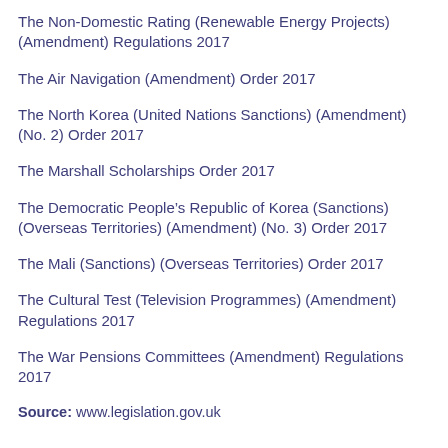The Non-Domestic Rating (Renewable Energy Projects) (Amendment) Regulations 2017
The Air Navigation (Amendment) Order 2017
The North Korea (United Nations Sanctions) (Amendment) (No. 2) Order 2017
The Marshall Scholarships Order 2017
The Democratic People’s Republic of Korea (Sanctions) (Overseas Territories) (Amendment) (No. 3) Order 2017
The Mali (Sanctions) (Overseas Territories) Order 2017
The Cultural Test (Television Programmes) (Amendment) Regulations 2017
The War Pensions Committees (Amendment) Regulations 2017
Source: www.legislation.gov.uk